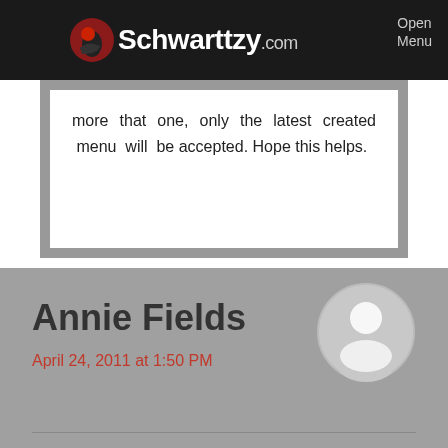[Figure (screenshot): Schwarttzy.com website header/navbar with logo and Open Menu button]
more that one, only the latest created menu will be accepted. Hope this helps.
Annie Fields
April 24, 2011 at 1:50 PM
[Figure (illustration): Generic user avatar icon — gray circle with white human silhouette]